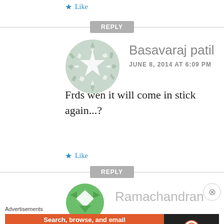★ Like
REPLY
[Figure (illustration): Circular avatar with geometric star/snowflake pattern in sage green and white]
Basavaraj patil
JUNE 8, 2014 AT 6:09 PM
Frds wen it will come in stick again...?
★ Like
REPLY
[Figure (illustration): Partial circular avatar with green diamond/chevron pattern]
Ramachandran
Advertisements
[Figure (screenshot): DuckDuckGo advertisement banner: 'Search, browse, and email with more privacy. All in One Free App' with DuckDuckGo logo on dark background]